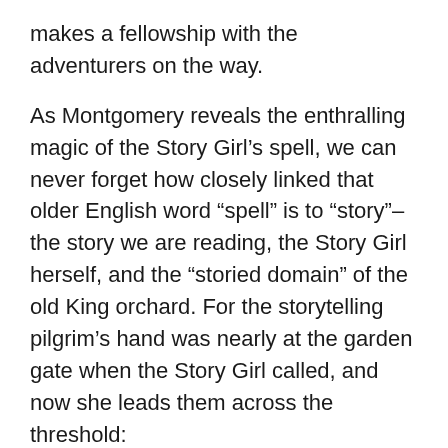makes a fellowship with the adventurers on the way.
As Montgomery reveals the enthralling magic of the Story Girl’s spell, we can never forget how closely linked that older English word “spell” is to “story”–the story we are reading, the Story Girl herself, and the “storied domain” of the old King orchard. For the storytelling pilgrim’s hand was nearly at the garden gate when the Story Girl called, and now she leads them across the threshold:
“The latch of the gate clicked under the Story Girl’s hand, and the next moment we were in the King orchard.”
The chapter that follows, chapter three, is “Legends of the Old Orchard.” And so the story begins. But the spell itself is already in place. So I leave for you this delicately entwined enchantment of Montgomery’s imagination, the